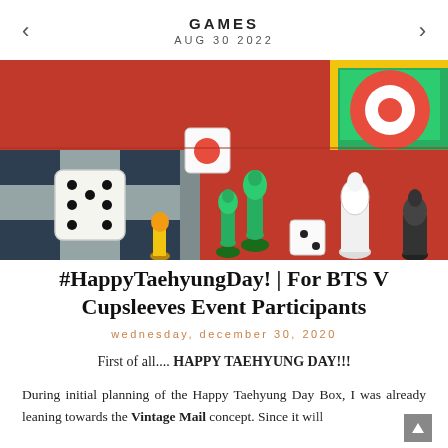GAMES
AUG 30 2022
[Figure (photo): Overhead photo of colorful board game pieces including dice, pawns (green, yellow), a chess piece, and game boards with red, green, and checkered patterns.]
#HappyTaehyungDay! | For BTS V Cupsleeves Event Participants
wednesday, december 30, 2020
First of all.... HAPPY TAEHYUNG DAY!!!
During initial planning of the Happy Taehyung Day Box, I was already leaning towards the Vintage Mail concept. Since it will